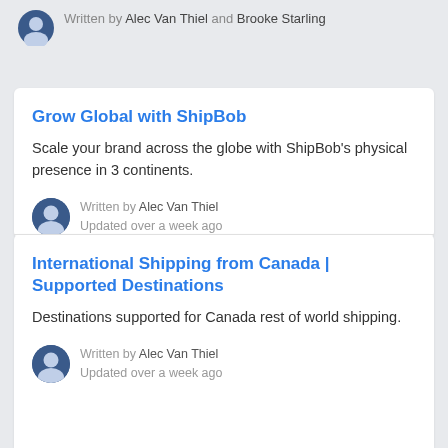Written by Alec Van Thiel and Brooke Starling
Grow Global with ShipBob
Scale your brand across the globe with ShipBob's physical presence in 3 continents.
Written by Alec Van Thiel
Updated over a week ago
International Shipping from Canada | Supported Destinations
Destinations supported for Canada rest of world shipping.
Written by Alec Van Thiel
Updated over a week ago